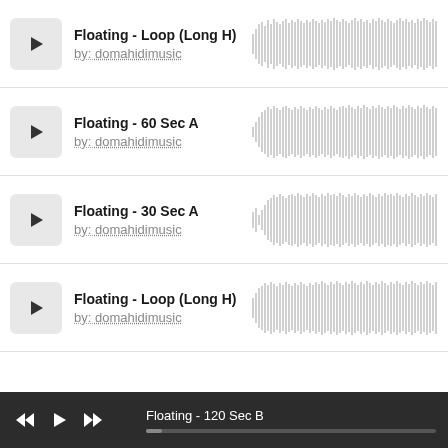Floating - Loop (Long H)
by: domahidimusic
[Figure (other): Audio waveform for Floating - Loop (Long H)]
Floating - 60 Sec A
by: domahidimusic
[Figure (other): Audio waveform for Floating - 60 Sec A]
Floating - 30 Sec A
by: domahidimusic
[Figure (other): Audio waveform for Floating - 30 Sec A]
Floating - Loop (Long H)
by: domahidimusic
[Figure (other): Audio waveform for Floating - Loop (Long H)]
Floating - 120 Sec B